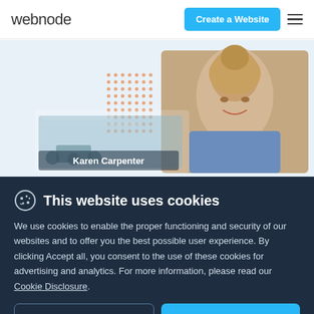webnode | Create a Website
[Figure (screenshot): Webnode website builder hero section showing a smiling woman and a website template card labeled 'Karen Carpenter' with a decorative dot pattern]
This website uses cookies
We use cookies to enable the proper functioning and security of our websites and to offer you the best possible user experience. By clicking Accept all, you consent to the use of these cookies for advertising and analytics. For more information, please read our Cookie Disclosure.
Manage my choices
Accept all